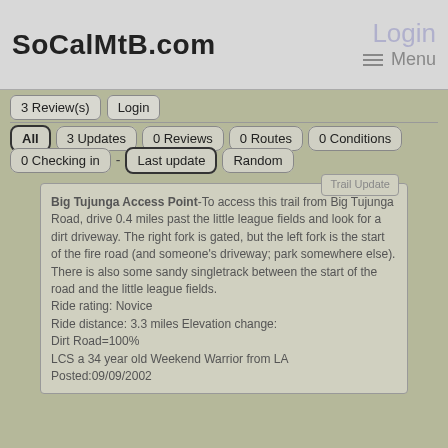SoCalMtB.com
Login Menu
3 Review(s)
Login
All
3 Updates
0 Reviews
0 Routes
0 Conditions
0 Checking in
-
Last update
Random
Big Tujunga Access Point-To access this trail from Big Tujunga Road, drive 0.4 miles past the little league fields and look for a dirt driveway. The right fork is gated, but the left fork is the start of the fire road (and someone's driveway; park somewhere else). There is also some sandy singletrack between the start of the road and the little league fields. Ride rating: Novice Ride distance: 3.3 miles Elevation change: Dirt Road=100% LCS a 34 year old Weekend Warrior from LA Posted:09/09/2002